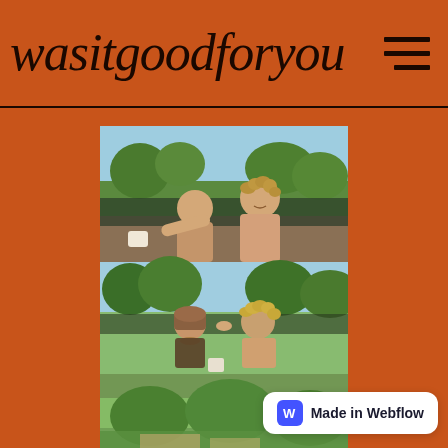wasitgoodforyou
[Figure (photo): Three stacked photographs of two young women outdoors near a canal on a sunny summer day. Top photo shows them leaning close, one reaching forward with a cup. Middle photo shows them kissing. Bottom partial photo shows greenery and outdoor setting.]
Made in Webflow